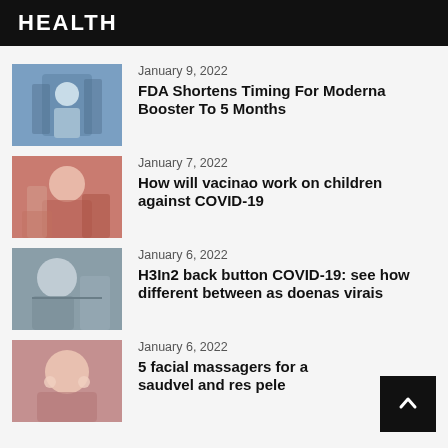HEALTH
January 9, 2022
FDA Shortens Timing For Moderna Booster To 5 Months
January 7, 2022
How will vacinao work on children against COVID-19
January 6, 2022
H3In2 back button COVID-19: see how different between as doenas virais
January 6, 2022
5 facial massagers for a saudvel and res pele